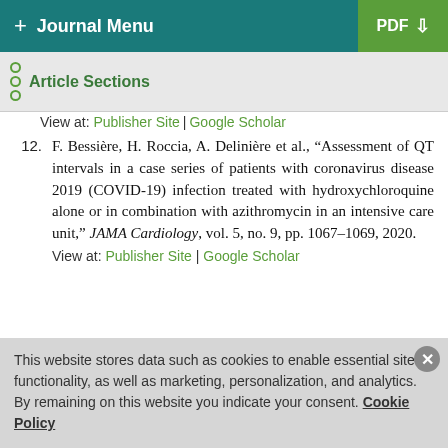+ Journal Menu | PDF ↓
Article Sections
View at: Publisher Site | Google Scholar
12. F. Bessière, H. Roccia, A. Delinière et al., "Assessment of QT intervals in a case series of patients with coronavirus disease 2019 (COVID-19) infection treated with hydroxychloroquine alone or in combination with azithromycin in an intensive care unit," JAMA Cardiology, vol. 5, no. 9, pp. 1067–1069, 2020.
View at: Publisher Site | Google Scholar
This website stores data such as cookies to enable essential site functionality, as well as marketing, personalization, and analytics. By remaining on this website you indicate your consent. Cookie Policy